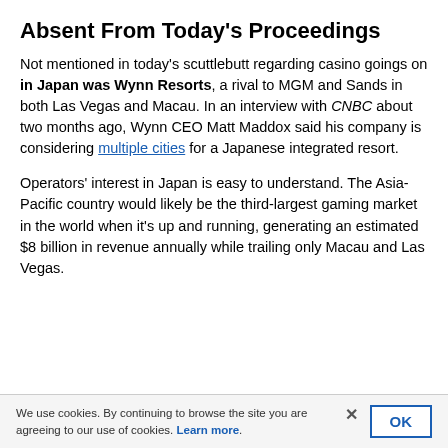Absent From Today's Proceedings
Not mentioned in today's scuttlebutt regarding casino goings on in Japan was Wynn Resorts, a rival to MGM and Sands in both Las Vegas and Macau. In an interview with CNBC about two months ago, Wynn CEO Matt Maddox said his company is considering multiple cities for a Japanese integrated resort.
Operators' interest in Japan is easy to understand. The Asia-Pacific country would likely be the third-largest gaming market in the world when it's up and running, generating an estimated $8 billion in revenue annually while trailing only Macau and Las Vegas.
We use cookies. By continuing to browse the site you are agreeing to our use of cookies. Learn more.